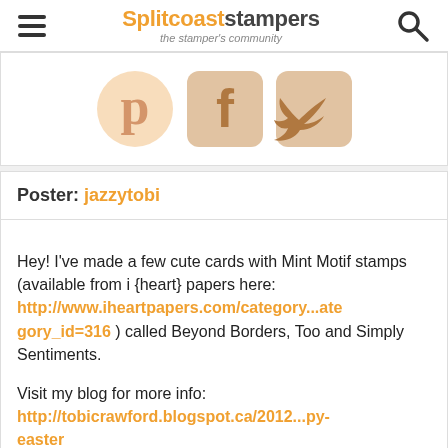Splitcoaststampers – the stamper's community
[Figure (illustration): Social media icons: Pinterest, Facebook, Twitter in light orange/peach color]
Poster: jazzytobi
Hey! I've made a few cute cards with Mint Motif stamps (available from i {heart} papers here: http://www.iheartpapers.com/category...ategory_id=316 ) called Beyond Borders, Too and Simply Sentiments.

Visit my blog for more info: http://tobicrawford.blogspot.ca/2012...py-easter